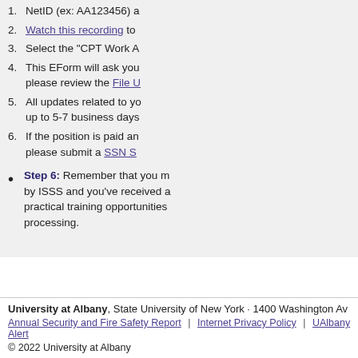NetID (ex: AA123456) a
Watch this recording to
Select the "CPT Work A
This EForm will ask you please review the File U
All updates related to your up to 5-7 business days
If the position is paid an please submit a SSN S
Step 6: Remember that you m by ISSS and you've received a practical training opportunities processing.
University at Albany, State University of New York · 1400 Washington Av
Annual Security and Fire Safety Report | Internet Privacy Policy | UAlbany Alert
© 2022 University at Albany